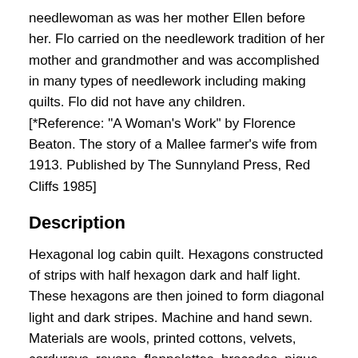needlewoman as was her mother Ellen before her. Flo carried on the needlework tradition of her mother and grandmother and was accomplished in many types of needlework including making quilts. Flo did not have any children.
[*Reference: "A Woman's Work" by Florence Beaton. The story of a Mallee farmer's wife from 1913. Published by The Sunnyland Press, Red Cliffs 1985]
Description
Hexagonal log cabin quilt. Hexagons constructed of strips with half hexagon dark and half light. These hexagons are then joined to form diagonal light and dark stripes. Machine and hand sewn. Materials are wools, printed cottons, velvets, corduroys, rayons, flannelettes, brocades, pique and taffetas. The backing is a single piece of brocatelle (rayon brocade). There is probably a thin layer of padding.